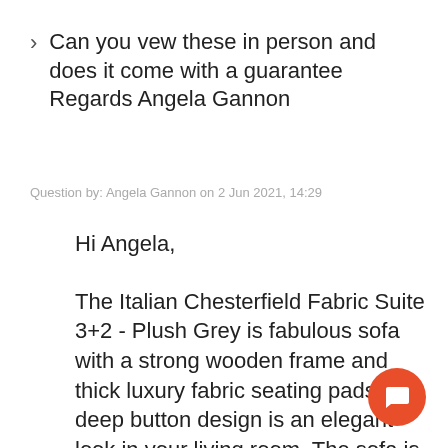Can you vew these in person and does it come with a guarantee Regards Angela Gannon
Question by: Angela Gannon on 2 Jun 2021, 14:29
Hi Angela,

The Italian Chesterfield Fabric Suite 3+2 - Plush Grey is fabulous sofa with a strong wooden frame and thick luxury fabric seating pads. The deep button design is an elegant look in your living room. The sofa is also available in our Belfast warehouse. Our furniture comes with a 14 day money back guarantee. If you decide to order or if you have further concerns, you can contact